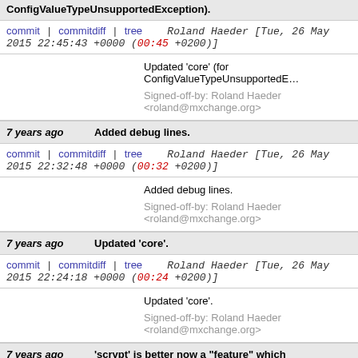7 years ago — Updated 'core' (for ConfigValueTypeUnsupportedException).
commit | commitdiff | tree   Roland Haeder [Tue, 26 May 2015 22:45:43 +0000 (00:45 +0200)]
Updated 'core' (for ConfigValueTypeUnsupportedException).

Signed-off-by: Roland Haeder <roland@mxchange.org>
7 years ago — Added debug lines.
commit | commitdiff | tree   Roland Haeder [Tue, 26 May 2015 22:32:48 +0000 (00:32 +0200)]
Added debug lines.

Signed-off-by: Roland Haeder <roland@mxchange.org>
7 years ago — Updated 'core'.
commit | commitdiff | tree   Roland Haeder [Tue, 26 May 2015 22:24:18 +0000 (00:24 +0200)]
Updated 'core'.

Signed-off-by: Roland Haeder <roland@mxchange.org>
7 years ago — 'scrypt' is better now a "feature" which